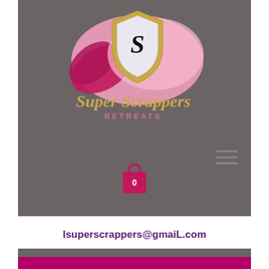[Figure (logo): Super Scrappers Retreats logo: pink watercolor flower/petal background with a gold shield containing the letter S, gold italic script 'Super Scrappers' text, pink uppercase 'RETREATS' text below, hamburger menu icon, and pink shopping bag with 0]
lsuperscrappers@gmail.com